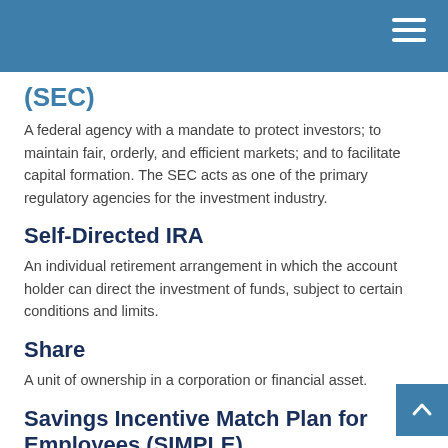(SEC)
A federal agency with a mandate to protect investors; to maintain fair, orderly, and efficient markets; and to facilitate capital formation. The SEC acts as one of the primary regulatory agencies for the investment industry.
Self-Directed IRA
An individual retirement arrangement in which the account holder can direct the investment of funds, subject to certain conditions and limits.
Share
A unit of ownership in a corporation or financial asset.
Savings Incentive Match Plan for Employees (SIMPLE)